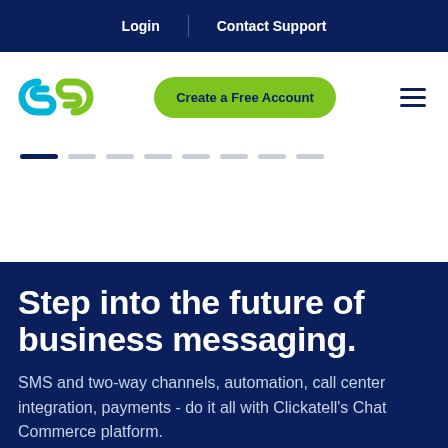Login | Contact Support
[Figure (logo): Clickatell logo — two interlocking cyan/blue chain links]
Create a Free Account
[Figure (other): Slider pagination dots — one dark blue active dot followed by seven light grey dots]
Step into the future of business messaging.
SMS and two-way channels, automation, call center integration, payments - do it all with Clickatell's Chat Commerce platform.